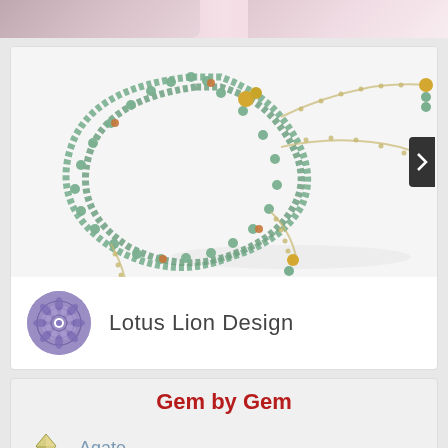[Figure (photo): Top strip showing partial jewelry/decorative images in pink/rose tones]
[Figure (photo): Green and gold beaded mala/prayer necklace with multiple strands and tassels ending in green and gold beads, on white background]
Lotus Lion Design
Gem by Gem
Agate
Amber
Amethyst